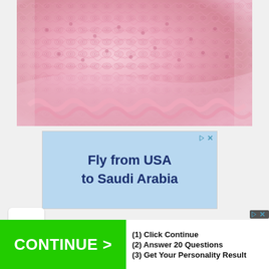[Figure (photo): Close-up photo of pink crochet knitted fabric with lacy scalloped edges, showing detailed shell stitch pattern in light pink yarn against a white background]
[Figure (screenshot): Advertisement banner with light blue background. Text reads 'Fly from USA to Saudi Arabia' in dark navy bold font. Has play and X controls in top right corner.]
[Figure (screenshot): Bottom advertisement bar. Green 'CONTINUE >' button on the left. Text on right: '(1) Click Continue', '(2) Answer 20 Questions', '(3) Get Your Personality Result'. Has play and X controls in top right.]